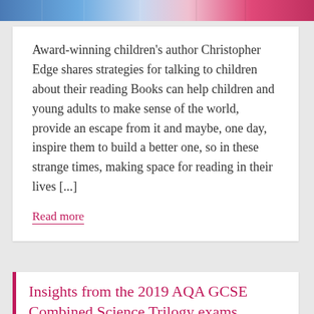[Figure (photo): Partial view of colorful image at top of page - blue, white, and pink/red colors visible]
Award-winning children's author Christopher Edge shares strategies for talking to children about their reading Books can help children and young adults to make sense of the world, provide an escape from it and maybe, one day, inspire them to build a better one, so in these strange times, making space for reading in their lives [...]
Read more
Insights from the 2019 AQA GCSE Combined Science Trilogy exams
NOVEMBER 22, 2019   OXFORD SCIENCE TEAM